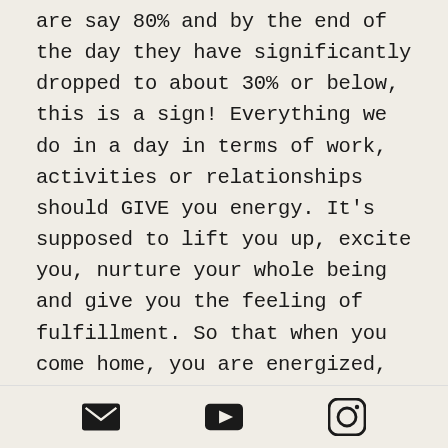If in the morning your energy levels are say 80% and by the end of the day they have significantly dropped to about 30% or below, this is a sign! Everything we do in a day in terms of work, activities or relationships should GIVE you energy. It's supposed to lift you up, excite you, nurture your whole being and give you the feeling of fulfillment. So that when you come home, you are energized, full of excitement and eager to share information about your day in your journal or to your loved ones! Now, I'm not saying that there are never going to be things that are difficult or can drain your energy
[email icon] [play icon] [instagram icon]